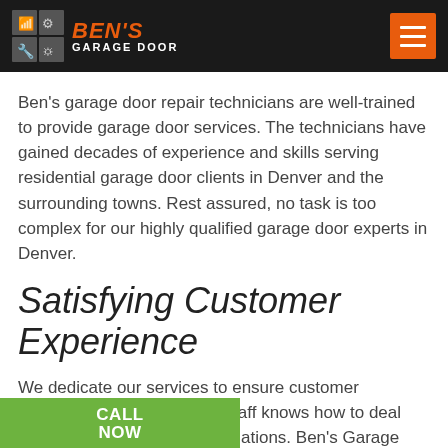BEN'S GARAGE DOOR
Ben's garage door repair technicians are well-trained to provide garage door services. The technicians have gained decades of experience and skills serving residential garage door clients in Denver and the surrounding towns. Rest assured, no task is too complex for our highly qualified garage door experts in Denver.
Satisfying Customer Experience
We dedicate our services to ensure customer satisfaction. Therefore, our staff knows how to deal with individual clients and situations. Ben's Garage